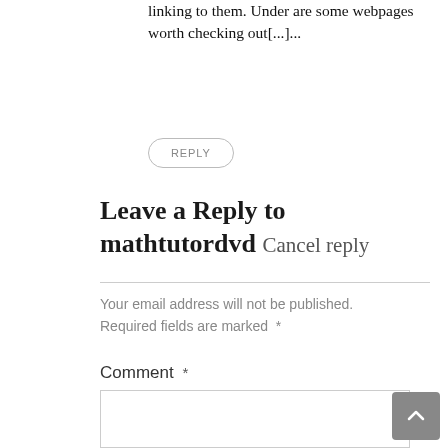linking to them. Under are some webpages worth checking out[...]...
REPLY
Leave a Reply to mathtutordvd Cancel reply
Your email address will not be published. Required fields are marked *
Comment *